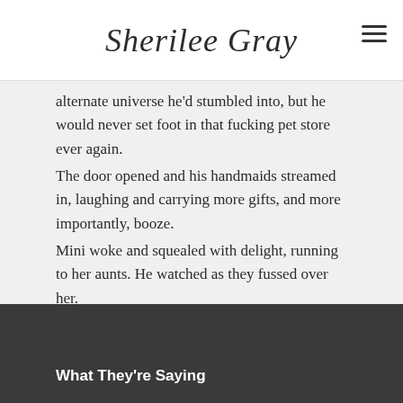Sherilee Gray
alternate universe he'd stumbled into, but he would never set foot in that fucking pet store ever again. The door opened and his handmaids streamed in, laughing and carrying more gifts, and more importantly, booze. Mini woke and squealed with delight, running to her aunts. He watched as they fussed over her. Yes, this was all he needed. All he would ever need.
© 2021 Sherilee Gray
What They're Saying